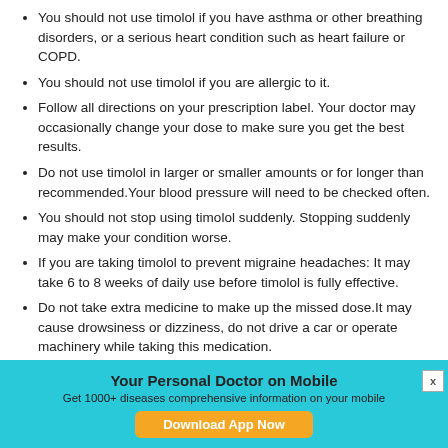You should not use timolol if you have asthma or other breathing disorders, or a serious heart condition such as heart failure or COPD.
You should not use timolol if you are allergic to it.
Follow all directions on your prescription label. Your doctor may occasionally change your dose to make sure you get the best results.
Do not use timolol in larger or smaller amounts or for longer than recommended.Your blood pressure will need to be checked often.
You should not stop using timolol suddenly. Stopping suddenly may make your condition worse.
If you are taking timolol to prevent migraine headaches: It may take 6 to 8 weeks of daily use before timolol is fully effective.
Do not take extra medicine to make up the missed dose.It may cause drowsiness or dizziness, do not drive a car or operate machinery while taking this medication.
[Figure (infographic): Promotional banner with cyan background reading 'Your Personal Doctor on Mobile', subtitle 'Get 1000+ diseases comprehensive information on your mobile', and an orange 'Download App Now' button. Close X button in top right corner.]